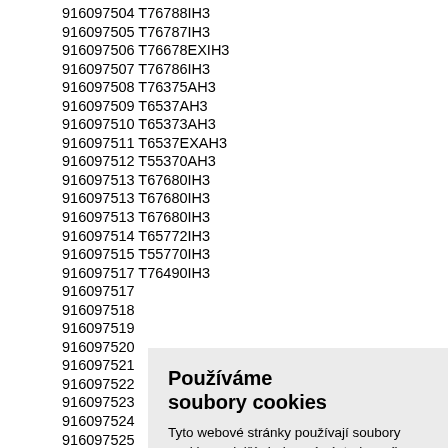916097504 T76788IH3
916097505 T76787IH3
916097506 T76678EXIH3
916097507 T76786IH3
916097508 T76375AH3
916097509 T6537AH3
916097510 T65373AH3
916097511 T6537EXAH3
916097512 T55370AH3
916097513 T67680IH3
916097513 T67680IH3
916097513 T67680IH3
916097514 T65772IH3
916097515 T55770IH3
916097517 T76490IH3
916097517
916097518
916097519
916097520
916097521
916097522
916097523
916097524
916097525
916097526
916097527
916097527
916097528
Používáme soubory cookies
Tyto webové stránky používají soubory cookies a další sledovací nástroje s cílem vylepšení uživatelského prostředí, zobrazení